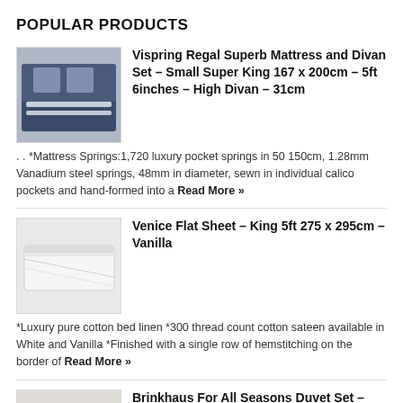POPULAR PRODUCTS
[Figure (photo): Photo of a dark blue upholstered bed/divan mattress set]
Vispring Regal Superb Mattress and Divan Set – Small Super King 167 x 200cm – 5ft 6inches – High Divan – 31cm
. . *Mattress Springs:1,720 luxury pocket springs in 50 150cm, 1.28mm Vanadium steel springs, 48mm in diameter, sewn in individual calico pockets and hand-formed into a Read More »
[Figure (photo): Photo of white flat sheet fabric]
Venice Flat Sheet – King 5ft 275 x 295cm – Vanilla
*Luxury pure cotton bed linen *300 thread count cotton sateen available in White and Vanilla *Finished with a single row of hemstitching on the border of Read More »
[Figure (photo): Photo of white/cream duvet]
Brinkhaus For All Seasons Duvet Set – King 5ft – 4.5 9.0 Tog
*Luxury duvet by Brinkhaus *4.5 tog – lightweight and 8.0 tog – medium weight *100 Egyptian long staple cotton cambric *Medicott treated *Thread count 267 *New Read More »